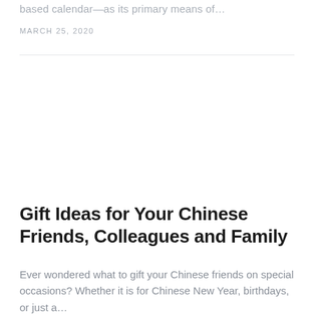based calendar—as its primary means of…
MARCH 25, 2020
Gift Ideas for Your Chinese Friends, Colleagues and Family
Ever wondered what to gift your Chinese friends on special occasions? Whether it is for Chinese New Year, birthdays, or just a…